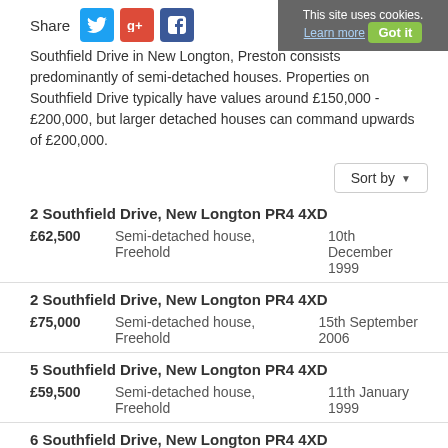[Figure (other): Share icons for Twitter, Google+, and Facebook]
Southfield Drive in New Longton, Preston consists predominantly of semi-detached houses. Properties on Southfield Drive typically have values around £150,000 - £200,000, but larger detached houses can command upwards of £200,000.
2 Southfield Drive, New Longton PR4 4XD
£62,500  Semi-detached house, Freehold  10th December 1999
2 Southfield Drive, New Longton PR4 4XD
£75,000  Semi-detached house, Freehold  15th September 2006
5 Southfield Drive, New Longton PR4 4XD
£59,500  Semi-detached house, Freehold  11th January 1999
6 Southfield Drive, New Longton PR4 4XD
£58,000  Semi-detached house, Freehold  14th October